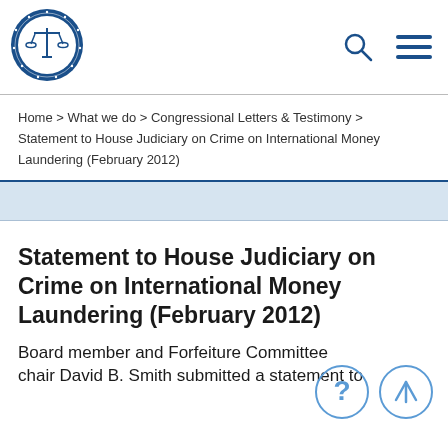[Figure (logo): National Association of Criminal Defense Lawyers circular seal logo in blue and white with scales of justice icon]
[Figure (other): Search magnifying glass icon and hamburger menu icon in dark blue]
Home > What we do > Congressional Letters & Testimony > Statement to House Judiciary on Crime on International Money Laundering (February 2012)
Statement to House Judiciary on Crime on International Money Laundering (February 2012)
Board member and Forfeiture Committee chair David B. Smith submitted a statement to